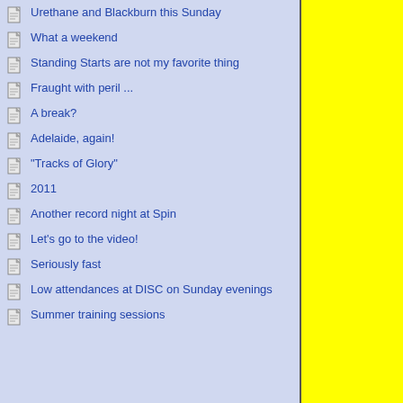Urethane and Blackburn this Sunday
What a weekend
Standing Starts are not my favorite thing
Fraught with peril ...
A break?
Adelaide, again!
"Tracks of Glory"
2011
Another record night at Spin
Let's go to the video!
Seriously fast
Low attendances at DISC on Sunday evenings
Summer training sessions